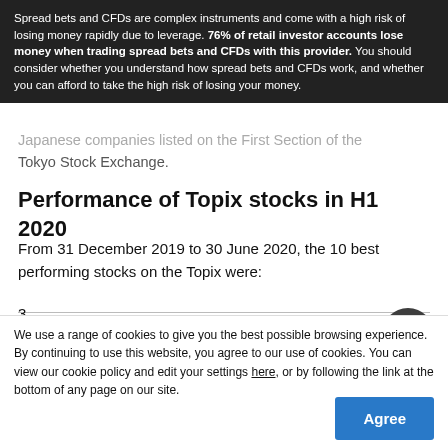Spread bets and CFDs are complex instruments and come with a high risk of losing money rapidly due to leverage. 76% of retail investor accounts lose money when trading spread bets and CFDs with this provider. You should consider whether you understand how spread bets and CFDs work, and whether you can afford to take the high risk of losing your money.
Japanese companies listed on the First Section of the Tokyo Stock Exchange.
Performance of Topix stocks in H1 2020
From 31 December 2019 to 30 June 2020, the 10 best performing stocks on the Topix were:
1
Company: GMO Cloud K.K.
Share price return: +176.5%
Sector: Information technology
3
We use a range of cookies to give you the best possible browsing experience. By continuing to use this website, you agree to our use of cookies. You can view our cookie policy and edit your settings here, or by following the link at the bottom of any page on our site.